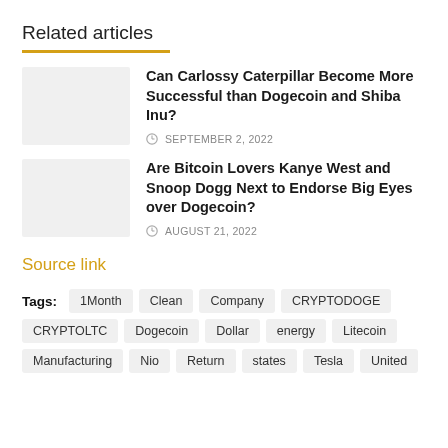Related articles
Can Carlossy Caterpillar Become More Successful than Dogecoin and Shiba Inu? SEPTEMBER 2, 2022
Are Bitcoin Lovers Kanye West and Snoop Dogg Next to Endorse Big Eyes over Dogecoin? AUGUST 21, 2022
Source link
Tags: 1Month  Clean  Company  CRYPTODOGE  CRYPTOLTC  Dogecoin  Dollar  energy  Litecoin  Manufacturing  Nio  Return  states  Tesla  United